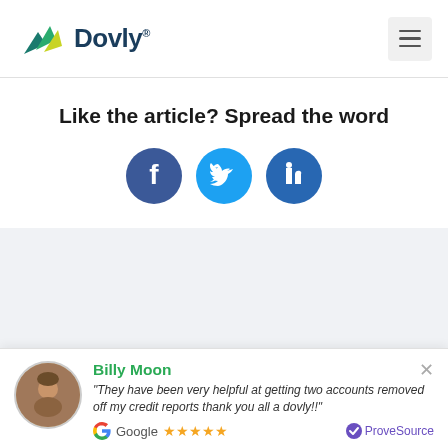[Figure (logo): Dovly logo with bird/leaf icon in teal and yellow-green, and 'Dovly' text in dark teal]
Like the article? Spread the word
[Figure (infographic): Three circular social media icons: Facebook (dark blue), Twitter (light blue), LinkedIn (medium blue)]
Next articles
Billy Moon
"They have been very helpful at getting two accounts removed off my credit reports thank you all a dovly!!"
Google ★★★★★ ProveSource